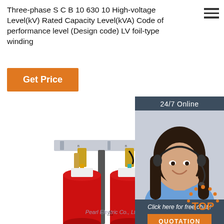Three-phase S C B 10 630 10 High-voltage Level(kV) Rated Capacity Level(kVA) Code of performance level (Design code) LV foil-type winding
[Figure (other): Orange 'Get Price' button]
[Figure (photo): Customer service representative with headset, 24/7 Online chat box with dark blue background, 'Click here for free chat!' text, and orange QUOTATION button]
[Figure (photo): Three-phase dry-type transformer with three red cylindrical coil windings mounted on a metal frame, Pearl Electric Co., Ltd watermark]
[Figure (other): TOP navigation badge with orange dot pattern in bottom right corner]